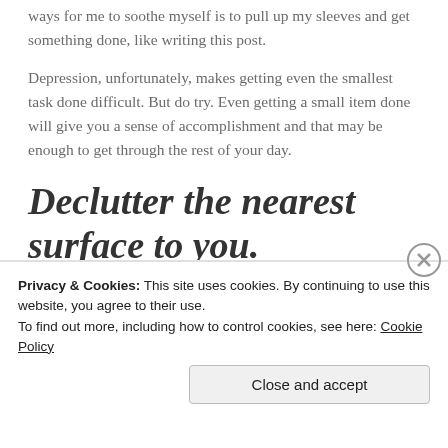ways for me to soothe myself is to pull up my sleeves and get something done, like writing this post.
Depression, unfortunately, makes getting even the smallest task done difficult. But do try. Even getting a small item done will give you a sense of accomplishment and that may be enough to get through the rest of your day.
Declutter the nearest surface to you.
Privacy & Cookies: This site uses cookies. By continuing to use this website, you agree to their use.
To find out more, including how to control cookies, see here: Cookie Policy